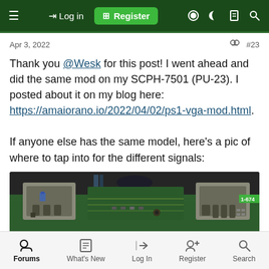Log in | Register
Apr 3, 2022   #23
Thank you @Wesk for this post! I went ahead and did the same mod on my SCPH-7501 (PU-23). I posted about it on my blog here: https://amaiorano.io/2022/04/02/ps1-vga-mod.html.

If anyone else has the same model, here's a pic of where to tap into for the different signals:
[Figure (photo): Close-up photo of a PlayStation 1 SCPH-7501 (PU-23) circuit board showing connectors and green PCB with label 1-674 visible on the right side.]
Forums  What's New  Log In  Register  Search